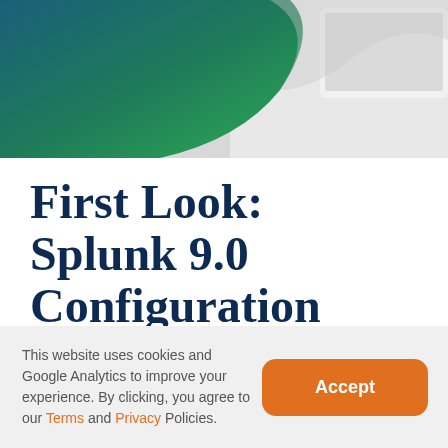[Figure (photo): Website header banner with a teal-to-green gradient shape on the left and a photo of a laptop on the right against a light grey background]
First Look: Splunk 9.0 Configuration Change Logging
By Tom Kopchak  |  Published On: June 15th, 2022
This website uses cookies and Google Analytics to improve your experience. By clicking, you agree to our Terms and Privacy Policies.